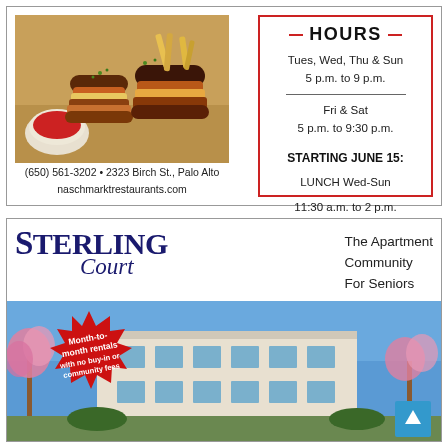[Figure (photo): Food photo showing burgers, fries, and dipping sauce]
(650) 561-3202 • 2323 Birch St., Palo Alto
naschmarktrestaurants.com
HOURS
Tues, Wed, Thu & Sun
5 p.m. to 9 p.m.
Fri & Sat
5 p.m. to 9:30 p.m.
STARTING JUNE 15:
LUNCH Wed-Sun
11:30 a.m. to 2 p.m.
[Figure (logo): Sterling Court logo — The Apartment Community For Seniors]
[Figure (photo): Apartment building photo with starburst overlay reading: Month-to-month rentals with no buy-in or community fees]